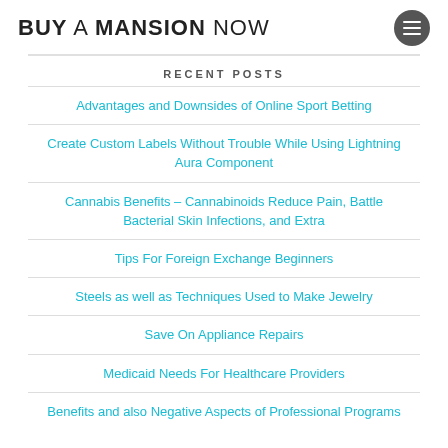BUY A MANSION NOW
RECENT POSTS
Advantages and Downsides of Online Sport Betting
Create Custom Labels Without Trouble While Using Lightning Aura Component
Cannabis Benefits – Cannabinoids Reduce Pain, Battle Bacterial Skin Infections, and Extra
Tips For Foreign Exchange Beginners
Steels as well as Techniques Used to Make Jewelry
Save On Appliance Repairs
Medicaid Needs For Healthcare Providers
Benefits and also Negative Aspects of Professional Programs